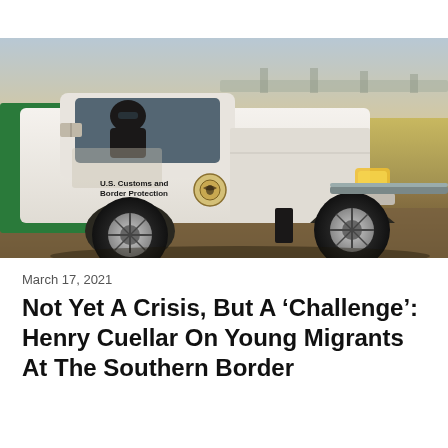[Figure (photo): A U.S. Customs and Border Protection white Ford F-150 pickup truck (vehicle number K35583) with a green stripe, parked or idling near a road. A driver wearing sunglasses is visible through the window. The background shows a flat landscape with a bridge or overpass structure, under a hazy sky.]
March 17, 2021
Not Yet A Crisis, But A ‘Challenge’: Henry Cuellar On Young Migrants At The Southern Border